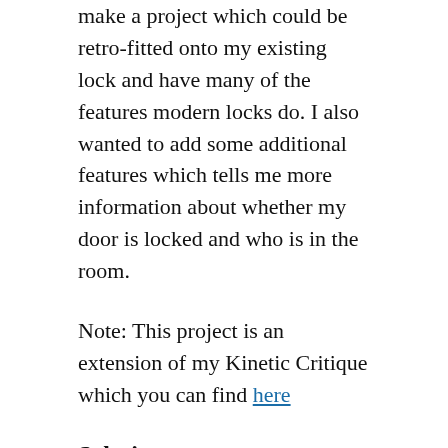make a project which could be retro-fitted onto my existing lock and have many of the features modern locks do. I also wanted to add some additional features which tells me more information about whether my door is locked and who is in the room.
Note: This project is an extension of my Kinetic Critique which you can find here
Solution
I used combination of servo motors, a bluetooth module and a RFID module to create a low-cost door lock which can be added to a mechanical lock. Since the project is bluetooth enabled I can connect my Android phone to it